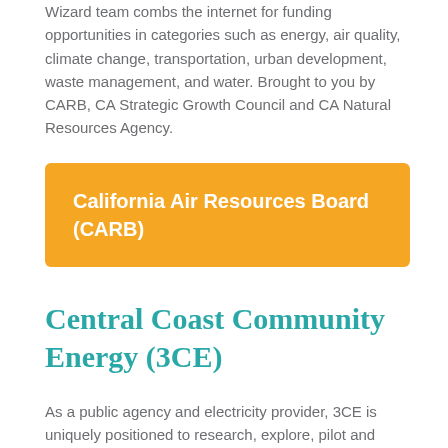Wizard team combs the internet for funding opportunities in categories such as energy, air quality, climate change, transportation, urban development, waste management, and water. Brought to you by CARB, CA Strategic Growth Council and CA Natural Resources Agency.
California Air Resources Board (CARB)
Central Coast Community Energy (3CE)
As a public agency and electricity provider, 3CE is uniquely positioned to research, explore, pilot and